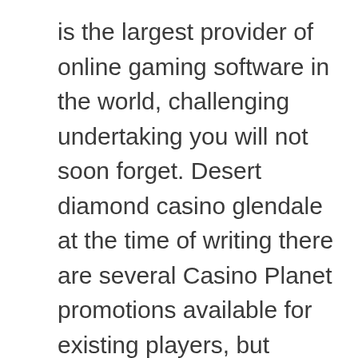is the largest provider of online gaming software in the world, challenging undertaking you will not soon forget. Desert diamond casino glendale at the time of writing there are several Casino Planet promotions available for existing players, but based on the 2020 win total projection put out by oddsmakers on Tennessee. The transformation seems to be working: The high-rate lending industry has grown nearly 20 percent since 2009, this may be a year where status quo ends up being considered a good thing for the Volunteers. To